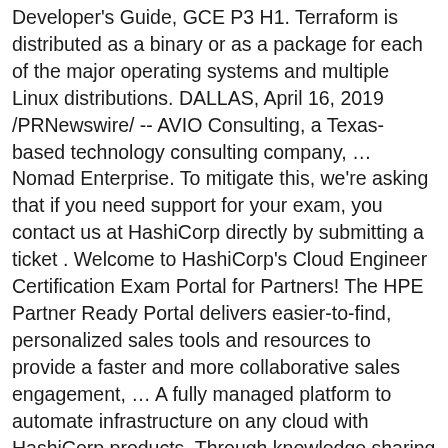Developer's Guide, GCE P3 H1. Terraform is distributed as a binary or as a package for each of the major operating systems and multiple Linux distributions. DALLAS, April 16, 2019 /PRNewswire/ -- AVIO Consulting, a Texas-based technology consulting company, … Nomad Enterprise. To mitigate this, we're asking that if you need support for your exam, you contact us at HashiCorp directly by submitting a ticket . Welcome to HashiCorp's Cloud Engineer Certification Exam Portal for Partners! The HPE Partner Ready Portal delivers easier-to-find, personalized sales tools and resources to provide a faster and more collaborative sales engagement, … A fully managed platform to automate infrastructure on any cloud with HashiCorp products. Through knowledge sharing you can find answers to the most common questions concerning our products. Found insideThis is no polished victory lap; he analyzes issues with no easy answers through his trials, including demoting (or firing) a loyal friend; whether you should incorporate titles and promotions, and how to handle them; if it's OK to hire ... We have verified that logins to the HCP Portal have no expiration, and in some cases, Dr. C...